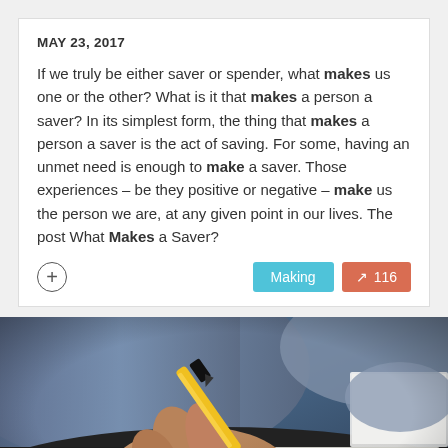MAY 23, 2017
If we truly be either saver or spender, what makes us one or the other? What is it that makes a person a saver? In its simplest form, the thing that makes a person a saver is the act of saving. For some, having an unmet need is enough to make a saver. Those experiences – be they positive or negative – make us the person we are, at any given point in our lives. The post What Makes a Saver?
[Figure (photo): Close-up photo of a person's hands writing on paper with a yellow and black pen, wearing a dark bracelet, dressed in a blue shirt, with a white book/laptop visible in background on a dark desk surface.]